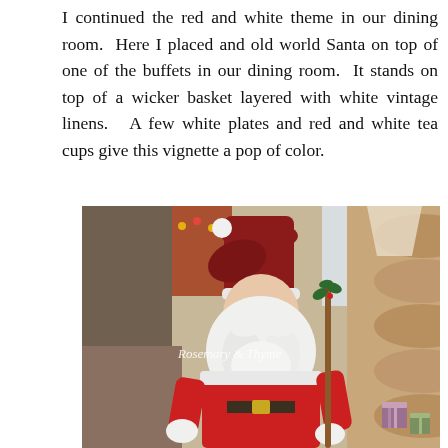I continued the red and white theme in our dining room. Here I placed and old world Santa on top of one of the buffets in our dining room. It stands on top of a wicker basket layered with white vintage linens. A few white plates and red and white tea cups give this vignette a pop of color.
[Figure (photo): An old world Santa Claus figurine with a dark red velvet hat with white pompom, long white beard, red coat, holding a small branch with holly berries. A wooden log cabin wall and a lamp are visible behind. A watermark reads 'Rosemary & Thyme' in script font on the lower left.]